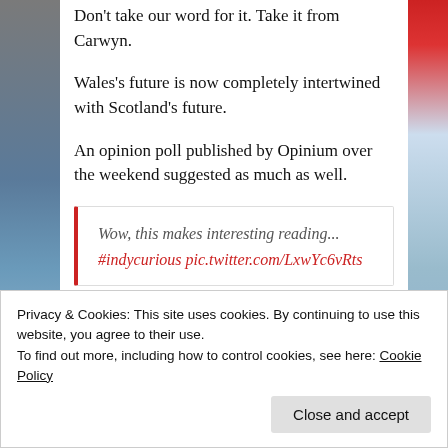Don't take our word for it. Take it from Carwyn.
Wales's future is now completely intertwined with Scotland's future.
An opinion poll published by Opinium over the weekend suggested as much as well.
Wow, this makes interesting reading... #indycurious pic.twitter.com/LxwYc6vRts
Privacy & Cookies: This site uses cookies. By continuing to use this website, you agree to their use.
To find out more, including how to control cookies, see here: Cookie Policy